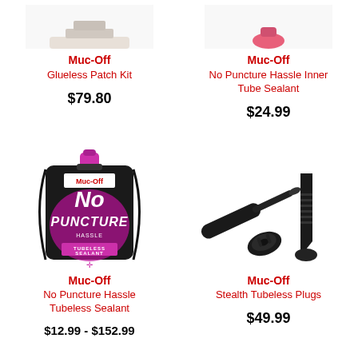[Figure (photo): Muc-Off Glueless Patch Kit product image (partially visible at top)]
Muc-Off
Glueless Patch Kit
$79.80
[Figure (photo): Muc-Off No Puncture Hassle Inner Tube Sealant product image (partially visible at top)]
Muc-Off
No Puncture Hassle Inner Tube Sealant
$24.99
[Figure (photo): Muc-Off No Puncture Hassle Tubeless Sealant black pouch with pink cap and branding]
Muc-Off
No Puncture Hassle Tubeless Sealant
$12.99 - $152.99
[Figure (photo): Muc-Off Stealth Tubeless Plugs - black tubeless plug tools]
Muc-Off
Stealth Tubeless Plugs
$49.99